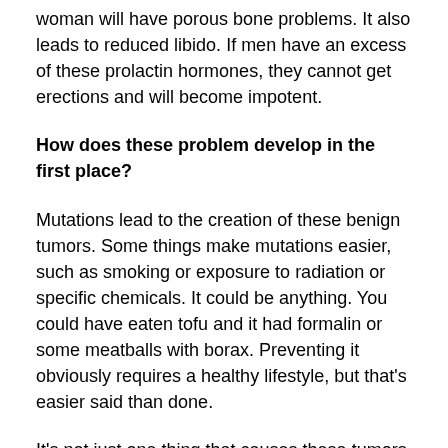woman will have porous bone problems. It also leads to reduced libido. If men have an excess of these prolactin hormones, they cannot get erections and will become impotent.
How does these problem develop in the first place?
Mutations lead to the creation of these benign tumors. Some things make mutations easier, such as smoking or exposure to radiation or specific chemicals. It could be anything. You could have eaten tofu and it had formalin or some meatballs with borax. Preventing it obviously requires a healthy lifestyle, but that's easier said than done.
It's not just one thing that causes these tumors.